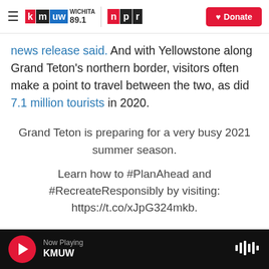KMUW Wichita 89.1 | NPR — Donate
news release said. And with Yellowstone along Grand Teton's northern border, visitors often make a point to travel between the two, as did 7.1 million tourists in 2020.
Grand Teton is preparing for a very busy 2021 summer season.
Learn how to #PlanAhead and #RecreateResponsibly by visiting: https://t.co/xJpG324mkb.
Now Playing KMUW